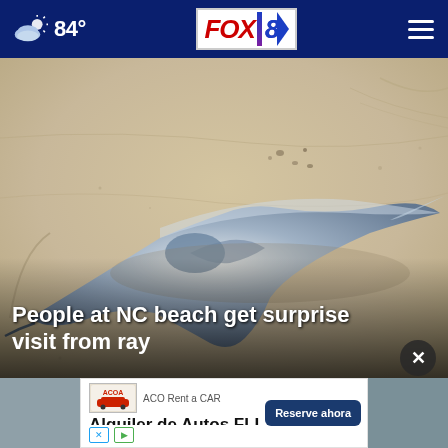84° FOX 8
[Figure (photo): A stingray/manta ray lying on sandy beach, photographed from above. The ray has a flat diamond-shaped dark grey/blue body with wing-like fins spread out on the pale sandy beach.]
People at NC beach get surprise visit from ray
[Figure (photo): Partial thumbnail of another image visible at bottom left]
[Figure (screenshot): Advertisement banner: ACO Rent a CAR - Alquiler de Autos FLL - Reserve ahora button]